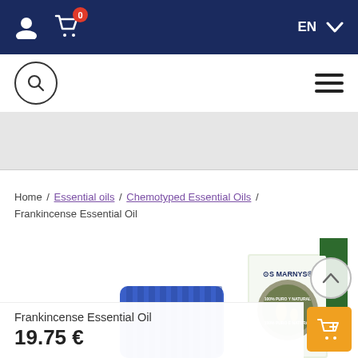Navigation bar with user icon, cart (0), EN language selector
[Figure (screenshot): Toolbar row with search circle icon and hamburger menu]
[Figure (photo): Grey banner/advertisement placeholder area]
Home / Essential oils / Chemotyped Essential Oils / Frankincense Essential Oil
[Figure (photo): Product photo showing a blue bottle cap and MARNYS branded product box with '100% Puro Y Natural' seal — Frankincense Essential Oil]
Frankincense Essential Oil
19.75 €